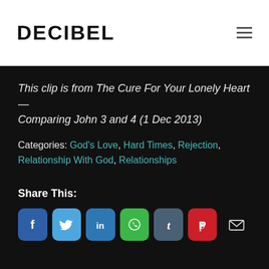DECIBEL
This clip is from The Cure For Your Lonely Heart—Comparing John 3 and 4 (1 Dec 2013)
Categories: God's Love, Hard Times, Rejection, Relationship With God, Relationships
Share This:
[Figure (other): Social share buttons: Facebook, Twitter, LinkedIn, WhatsApp, Tumblr, Pinterest, Email]